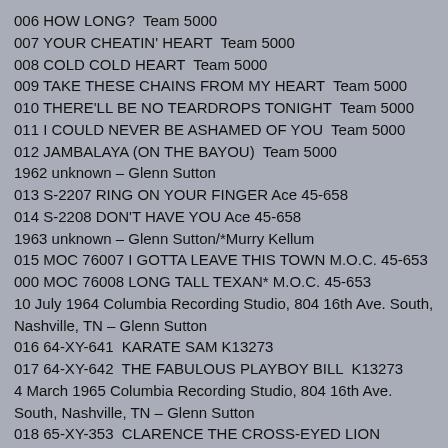006 HOW LONG?  Team 5000
007 YOUR CHEATIN' HEART  Team 5000
008 COLD COLD HEART  Team 5000
009 TAKE THESE CHAINS FROM MY HEART  Team 5000
010 THERE'LL BE NO TEARDROPS TONIGHT  Team 5000
011 I COULD NEVER BE ASHAMED OF YOU  Team 5000
012 JAMBALAYA (ON THE BAYOU)  Team 5000
1962 unknown – Glenn Sutton
013 S-2207 RING ON YOUR FINGER Ace 45-658
014 S-2208 DON'T HAVE YOU Ace 45-658
1963 unknown – Glenn Sutton/*Murry Kellum
015 MOC 76007 I GOTTA LEAVE THIS TOWN M.O.C. 45-653
000 MOC 76008 LONG TALL TEXAN* M.O.C. 45-653
10 July 1964 Columbia Recording Studio, 804 16th Ave. South, Nashville, TN – Glenn Sutton
016 64-XY-641  KARATE SAM K13273
017 64-XY-642  THE FABULOUS PLAYBOY BILL  K13273
4 March 1965 Columbia Recording Studio, 804 16th Ave. South, Nashville, TN – Glenn Sutton
018 65-XY-353  CLARENCE THE CROSS-EYED LION